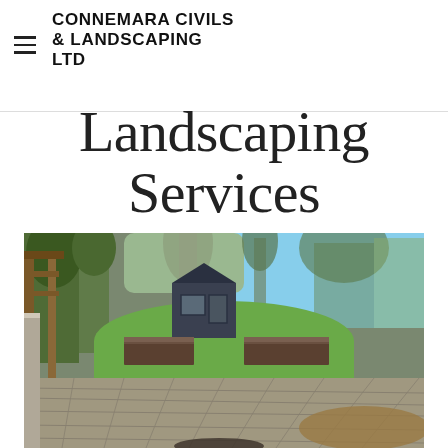CONNEMARA CIVILS & LANDSCAPING LTD
Landscaping Services
[Figure (photo): Outdoor landscaped garden with stone patio, two raised brick planters, green lawn, mature trees, a small dark shed, a wooden pergola on the left, gravel area on the right, and a clear blue sky in the background.]